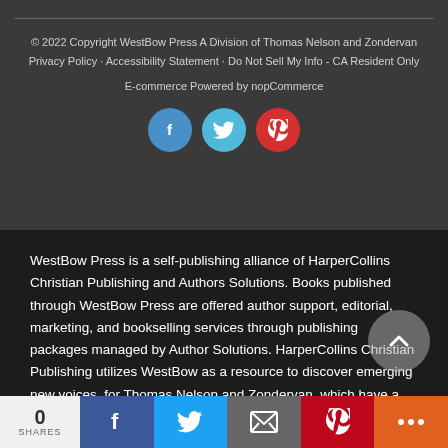© 2022 Copyright WestBow Press A Division of Thomas Nelson and Zondervan
Privacy Policy · Accessibility Statement · Do Not Sell My Info - CA Resident Only

E-commerce Powered by nopCommerce
[Figure (illustration): Three social media icon circles: Facebook (blue), Twitter (cyan), Pinterest (red)]
WestBow Press is a self-publishing alliance of HarperCollins Christian Publishing and Authors Solutions. Books published through WestBow Press are offered author support, editorial, marketing, and bookselling services through publishing packages managed by Author Solutions. HarperCollins Christian Publishing utilizes WestBow as a resource to discover emerging new voices, for Thomas Nelson and Zondervan, which have a proven
0 SHARES